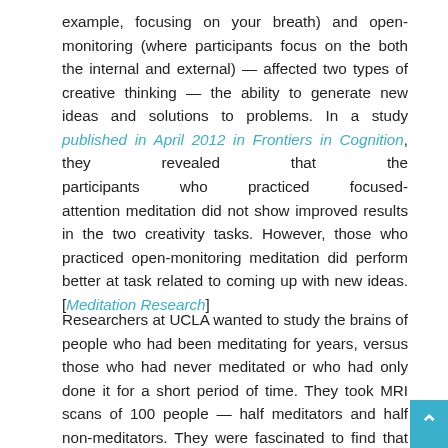example, focusing on your breath) and open-monitoring (where participants focus on the both the internal and external) — affected two types of creative thinking — the ability to generate new ideas and solutions to problems. In a study published in April 2012 in Frontiers in Cognition, they revealed that the participants who practiced focused-attention meditation did not show improved results in the two creativity tasks. However, those who practiced open-monitoring meditation did perform better at task related to coming up with new ideas. [Meditation Research]
Researchers at UCLA wanted to study the brains of people who had been meditating for years, versus those who had never meditated or who had only done it for a short period of time. They took MRI scans of 100 people — half meditators and half non-meditators. They were fascinated to find that long-time meditators